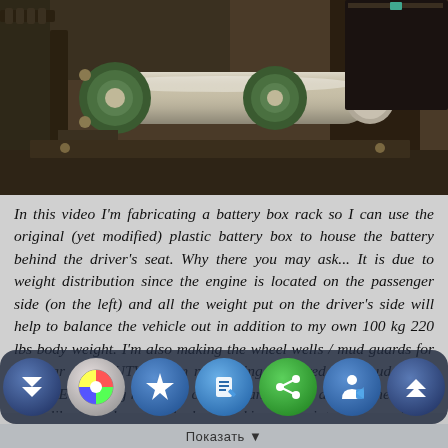[Figure (photo): Close-up photo of metal mechanical components including a cylindrical shaft/axle with green bearing housing and chain drive parts, industrial workshop setting with dark metal frame]
In this video I'm fabricating a battery box rack so I can use the original (yet modified) plastic battery box to house the battery behind the driver's seat. Why there you may ask... It is due to weight distribution since the engine is located on the passenger side (on the left) and all the weight put on the driver's side will help to balance the vehicle out in addition to my own 100 kg 220 lbs body weight. I'm also making the wheel wells / mud guards for the rear of the UTV so I'm not getting plastered with mud in the future. Everything has to be compact and roomy at the same time. I don't like to feel cramped when working or maintaining a vehicle. This build will let me do things to my own liking. Now some of you will probably say I'm mad for doing this but I've ... o of the battery ... sitting
Показать ▼